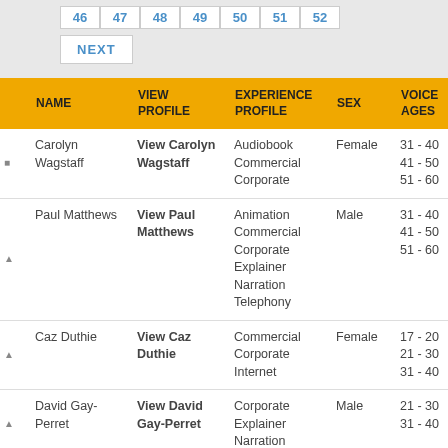46 47 48 49 50 51 52 NEXT
|  | NAME | VIEW PROFILE | EXPERIENCE PROFILE | SEX | VOICE AGES | LANGU... |
| --- | --- | --- | --- | --- | --- | --- |
| ■ | Carolyn Wagstaff | View Carolyn Wagstaff | Audiobook
Commercial
Corporate | Female | 31 - 40
41 - 50
51 - 60 | English (U... |
| ▲ | Paul Matthews | View Paul Matthews | Animation
Commercial
Corporate
Explainer
Narration
Telephony | Male | 31 - 40
41 - 50
51 - 60 | English (U... |
| ▲ | Caz Duthie | View Caz Duthie | Commercial
Corporate
Internet | Female | 17 - 20
21 - 30
31 - 40 | English (U... |
| ▲ | David Gay-Perret | View David Gay-Perret | Corporate
Explainer
Narration | Male | 21 - 30
31 - 40 | English (U...
French |